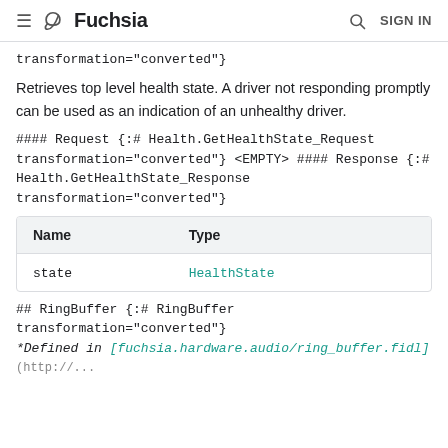≡ Fuchsia  🔍 SIGN IN
transformation="converted"}
Retrieves top level health state. A driver not responding promptly can be used as an indication of an unhealthy driver.
#### Request {:# Health.GetHealthState_Request transformation="converted"} <EMPTY> #### Response {:# Health.GetHealthState_Response transformation="converted"}
| Name | Type |
| --- | --- |
| state | HealthState |
## RingBuffer {:# RingBuffer transformation="converted"}
*Defined in [fuchsia.hardware.audio/ring_buffer.fidl]